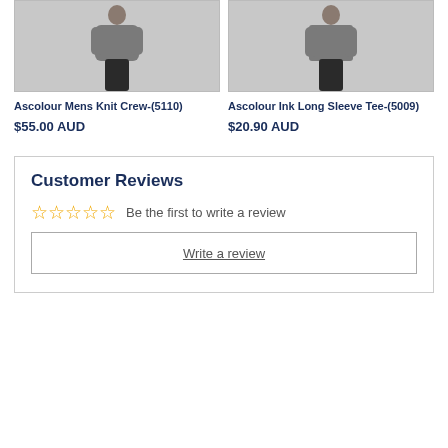[Figure (photo): Photo of a man wearing a grey knit crew sweatshirt, cropped to upper body]
Ascolour Mens Knit Crew-(5110)
$55.00 AUD
[Figure (photo): Photo of a man wearing a grey long sleeve tee, cropped to upper body]
Ascolour Ink Long Sleeve Tee-(5009)
$20.90 AUD
Customer Reviews
☆☆☆☆☆  Be the first to write a review
Write a review